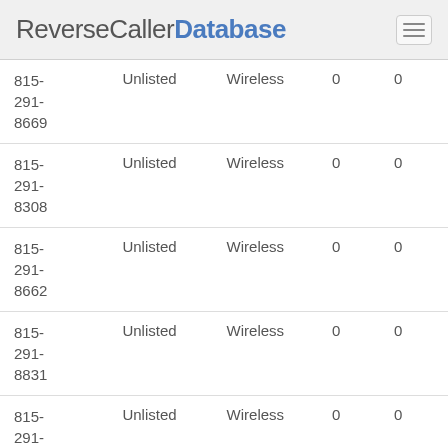ReverseCallerDatabase
| Phone | Status | Type | Col4 | Col5 |
| --- | --- | --- | --- | --- |
| 815-291-8669 | Unlisted | Wireless | 0 | 0 |
| 815-291-8308 | Unlisted | Wireless | 0 | 0 |
| 815-291-8662 | Unlisted | Wireless | 0 | 0 |
| 815-291-8831 | Unlisted | Wireless | 0 | 0 |
| 815-291-8572 | Unlisted | Wireless | 0 | 0 |
| 815- | Unlisted | Wireless | 0 | 0 |